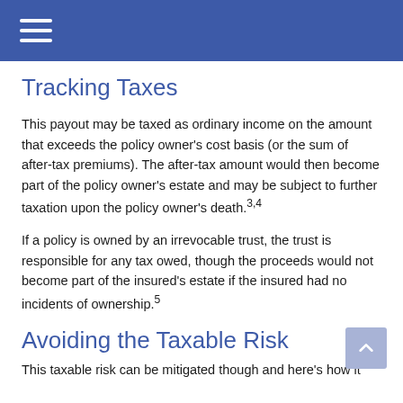Tracking Taxes
This payout may be taxed as ordinary income on the amount that exceeds the policy owner's cost basis (or the sum of after-tax premiums). The after-tax amount would then become part of the policy owner's estate and may be subject to further taxation upon the policy owner's death.3,4
If a policy is owned by an irrevocable trust, the trust is responsible for any tax owed, though the proceeds would not become part of the insured's estate if the insured had no incidents of ownership.5
Avoiding the Taxable Risk
This taxable risk can be mitigated though and here's how it...